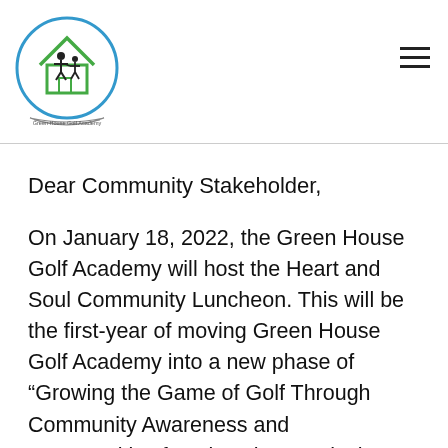[Figure (logo): Green House Golf Academy circular logo with a house icon and two figures, with a banner below, rendered in blue and green]
Dear Community Stakeholder,
On January 18, 2022, the Green House Golf Academy will host the Heart and Soul Community Luncheon. This will be the first-year of moving Green House Golf Academy into a new phase of “Growing the Game of Golf Through Community Awareness and Opportunities for Diversity & Inclusion”. The event will be